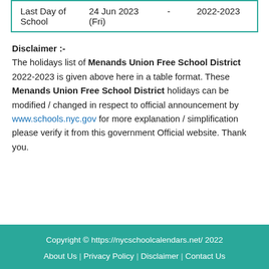| Last Day of School | 24 Jun 2023 (Fri) | - | 2022-2023 |
Disclaimer :- The holidays list of Menands Union Free School District 2022-2023 is given above here in a table format. These Menands Union Free School District holidays can be modified / changed in respect to official announcement by www.schools.nyc.gov for more explanation / simplification please verify it from this government Official website. Thank you.
Copyright © https://nycschoolcalendars.net/ 2022 | About Us | Privacy Policy | Disclaimer | Contact Us